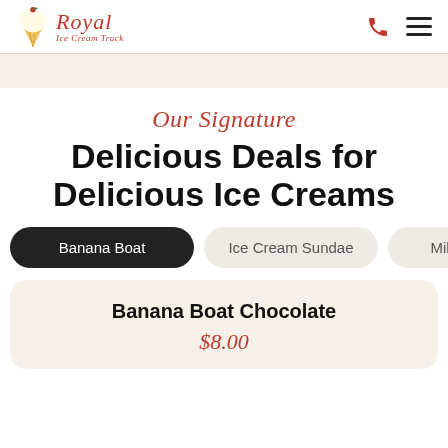Royal Ice Cream Truck — navigation header
Our Signature
Delicious Deals for Delicious Ice Creams
Banana Boat
Ice Cream Sundae
Mil...
Banana Boat Chocolate
$8.00